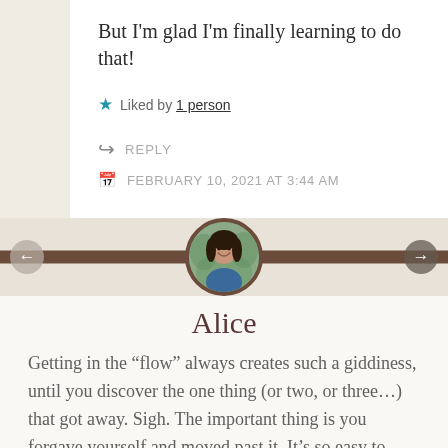But I'm glad I'm finally learning to do that!
Liked by 1 person
REPLY
FEBRUARY 10, 2021 AT 3:44 AM
[Figure (photo): Circular avatar photo of a woman named Alice, with brown border, overlaying a decorative brown horizontal bar separator]
Alice
Getting in the “flow” always creates such a giddiness, until you discover the one thing (or two, or three…) that got away. Sigh. The important thing is you forgave yourself and moved past it. It’s so easy to wallow in the